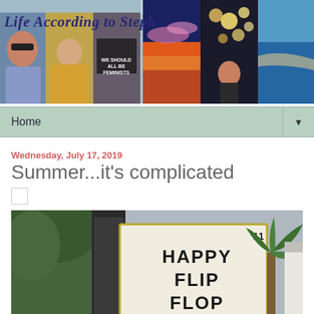[Figure (photo): Blog header banner with collage of photos and blog title 'Life According to Steph']
Home ▼
Wednesday, July 17, 2019
Summer...it's complicated
[Figure (photo): Outdoor marquee sign reading 'HAPPY FLIP FLOP' with trees and a palm tree in background]